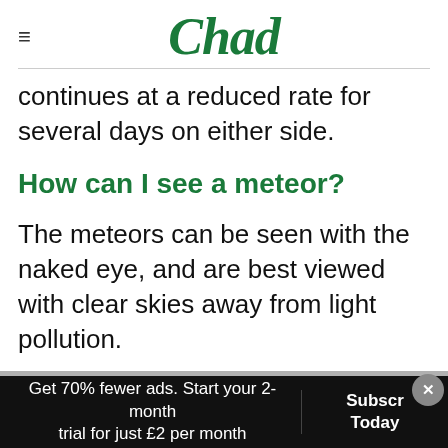Chad
continues at a reduced rate for several days on either side.
How can I see a meteor?
The meteors can be seen with the naked eye, and are best viewed with clear skies away from light pollution.
Dr John Mason, from the British Astronomical Association, said: “If you are in the countryside
Get 70% fewer ads. Start your 2-month trial for just £2 per month  Subscribe Today